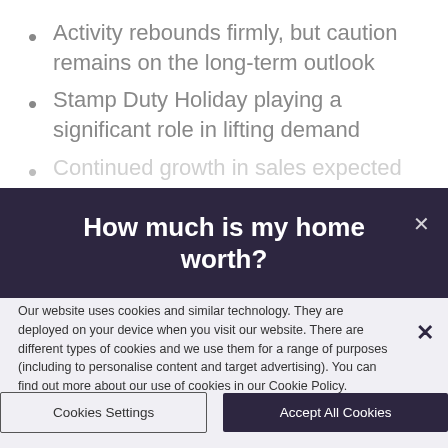Activity rebounds firmly, but caution remains on the long-term outlook
Stamp Duty Holiday playing a significant role in lifting demand
Continued growth in sales expected on…
How much is my home worth?
Our website uses cookies and similar technology. They are deployed on your device when you visit our website. There are different types of cookies and we use them for a range of purposes (including to personalise content and target advertising). You can find out more about our use of cookies in our Cookie Policy.
Cookies Settings
Accept All Cookies